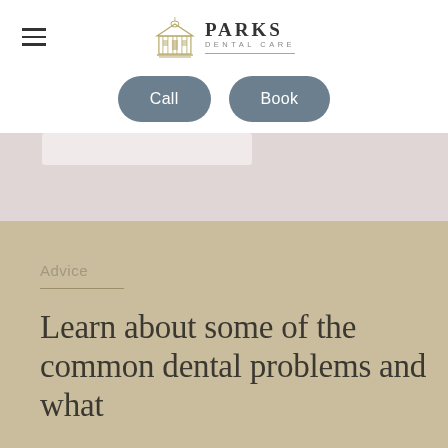Parks Dental Care
[Figure (logo): Parks Dental Care logo with building icon and ornamental divider]
Call
Book
[Figure (photo): Hero image band showing partial dental-related image in rose/beige tones]
Advice
Learn about some of the common dental problems and what